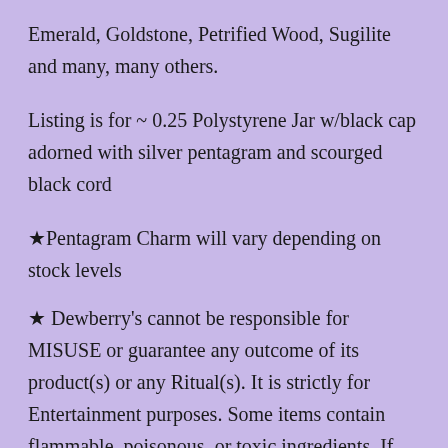Emerald, Goldstone, Petrified Wood, Sugilite and many, many others.
Listing is for ~ 0.25 Polystyrene Jar w/black cap adorned with silver pentagram and scourged black cord
★Pentagram Charm will vary depending on stock levels
★ Dewberry's cannot be responsible for MISUSE or guarantee any outcome of its product(s) or any Ritual(s). It is strictly for Entertainment purposes. Some items contain flammable, poisonous, or toxic ingredients. If you choose to buy these items, Dewberry's cannot take any responsibility, or shall not be held responsible for any injuries, misuse, damages, or losses resulting from the use